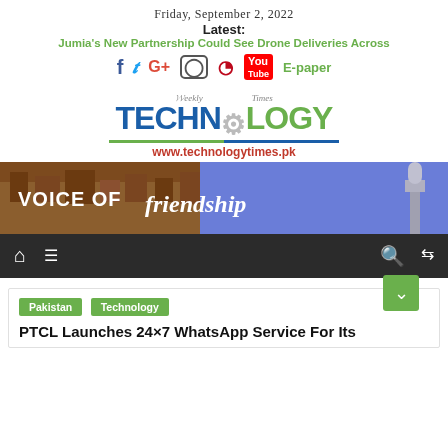Friday, September 2, 2022
Latest:
Jumia's New Partnership Could See Drone Deliveries Across
[Figure (other): Social media icons: Facebook, Twitter, Google+, Instagram, Pinterest, YouTube, E-paper link]
[Figure (logo): Weekly Technology Times logo with gear icon and www.technologytimes.pk URL]
[Figure (photo): Banner image with text 'VOICE OF friendship' showing Great Wall of China and Minar-e-Pakistan]
[Figure (other): Navigation bar with home, menu, search, and shuffle icons]
Pakistan  Technology
PTCL Launches 24×7 WhatsApp Service For Its